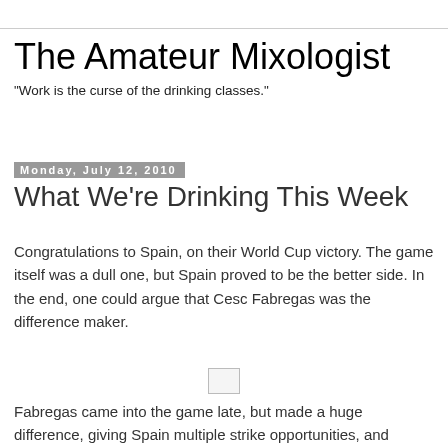The Amateur Mixologist
"Work is the curse of the drinking classes."
Monday, July 12, 2010
What We're Drinking This Week
Congratulations to Spain, on their World Cup victory.  The game itself was a dull one, but Spain proved to be the better side.  In the end, one could argue that Cesc Fabregas was the difference maker.
[Figure (other): Small image placeholder (broken/unloaded image)]
Fabregas came into the game late, but made a huge difference, giving Spain multiple strike opportunities, and moving the ball upfield quickly and efficiently.  It's a matter of time too, before Fabregas moves from his current squad Arsenal to Barcelona.  But for his injury, he'd likely have